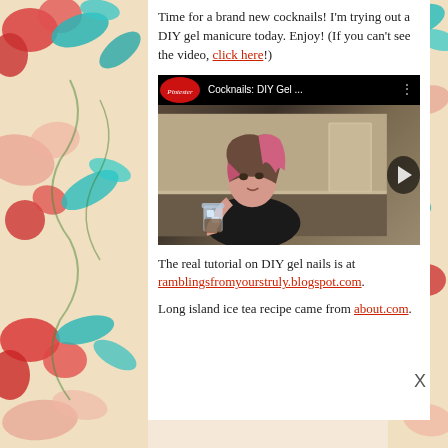[Figure (illustration): Decorative floral pattern border on left and right sides of the page with teal, red, and pink flower and leaf motifs on a cream background]
Time for a brand new cocknails! I'm trying out a DIY gel manicure today. Enjoy! (If you can't see the video, click here!)
[Figure (screenshot): YouTube video thumbnail showing 'Cocknails: DIY Gel ...' with Pintester logo, a woman with pink-streaked hair holding a drink glass, video play button overlay]
The real tutorial on DIY gel nails is at ramblingsfromyourstruly.blogspot.com.
Long island ice tea recipe came from about.com.